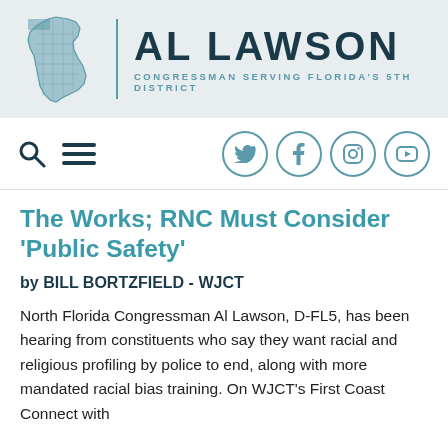AL LAWSON — CONGRESSMAN SERVING FLORIDA'S 5TH DISTRICT
[Figure (logo): Al Lawson congressional website header with Florida state map silhouette in teal and name 'AL LAWSON' in large dark text with subtitle 'CONGRESSMAN SERVING FLORIDA'S 5TH DISTRICT']
[Figure (infographic): Navigation bar with search icon, hamburger menu, and social media icons for Twitter, Facebook, Instagram, YouTube in teal circles]
The Works; RNC Must Consider 'Public Safety'
by BILL BORTZFIELD - WJCT
North Florida Congressman Al Lawson, D-FL5, has been hearing from constituents who say they want racial and religious profiling by police to end, along with more mandated racial bias training. On WJCT's First Coast Connect with